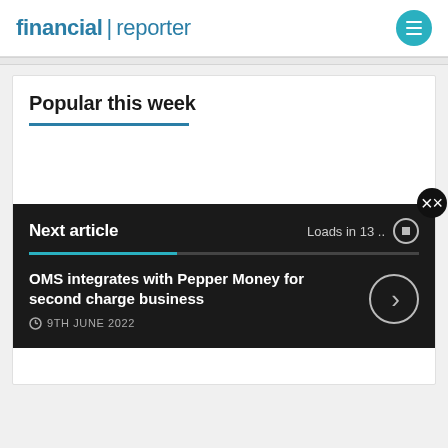financial | reporter
Popular this week
Next article — Loads in 13 ..
OMS integrates with Pepper Money for second charge business
9TH JUNE 2022